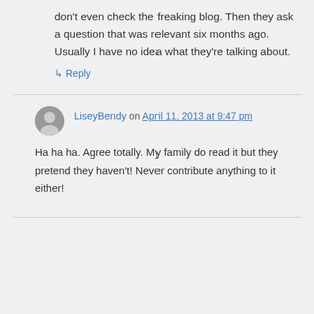don't even check the freaking blog. Then they ask a question that was relevant six months ago. Usually I have no idea what they're talking about.
↳ Reply
LiseyBendy on April 11, 2013 at 9:47 pm
Ha ha ha. Agree totally. My family do read it but they pretend they haven't! Never contribute anything to it either!